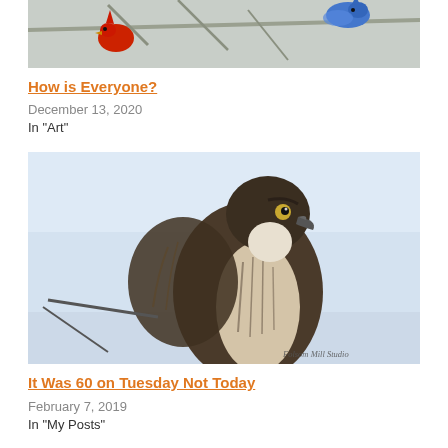[Figure (photo): Photo of a red cardinal and a blue jay perched on bare winter branches, partially visible as the top portion of the image is cropped.]
How is Everyone?
December 13, 2020
In "Art"
[Figure (photo): Close-up photo of a hawk (Cooper's Hawk or Sharp-shinned Hawk) perched and looking to the right, against a light blue sky background. Watermark reads 'Folsom Mill Studio'.]
It Was 60 on Tuesday Not Today
February 7, 2019
In "My Posts"